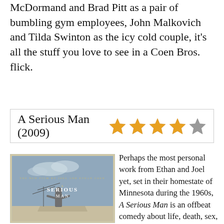McDormand and Brad Pitt as a pair of bumbling gym employees, John Malkovich and Tilda Swinton as the icy cold couple, it's all the stuff you love to see in a Coen Bros. flick.
| A Serious Man (2009) | ★★★★☆ |
[Figure (photo): Movie poster for 'A Serious Man' by Joel and Ethan Coen, showing a man standing on a rooftop with a TV antenna against a cloudy sky.]
Perhaps the most personal work from Ethan and Joel yet, set in their homestate of Minnesota during the 1960s, A Serious Man is an offbeat comedy about life, death, sex, faith and everything else that can go sour when you're simply trying to live a just